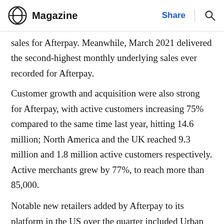Magazine  Share
sales for Afterpay. Meanwhile, March 2021 delivered the second-highest monthly underlying sales ever recorded for Afterpay.
Customer growth and acquisition were also strong for Afterpay, with active customers increasing 75% compared to the same time last year, hitting 14.6 million; North America and the UK reached 9.3 million and 1.8 million active customers respectively. Active merchants grew by 77%, to reach more than 85,000.
Notable new retailers added by Afterpay to its platform in the US over the quarter included Urban Outfitters, Anthropologie, Free People, BHLDN, Terrain, and Bed Bath & Beyond; in Canada, Afterpay added Shiseido,